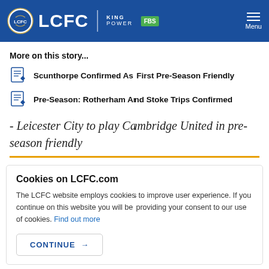LCFC | KING POWER FBS
More on this story...
Scunthorpe Confirmed As First Pre-Season Friendly
Pre-Season: Rotherham And Stoke Trips Confirmed
- Leicester City to play Cambridge United in pre-season friendly
Cookies on LCFC.com
The LCFC website employs cookies to improve user experience. If you continue on this website you will be providing your consent to our use of cookies. Find out more
CONTINUE →